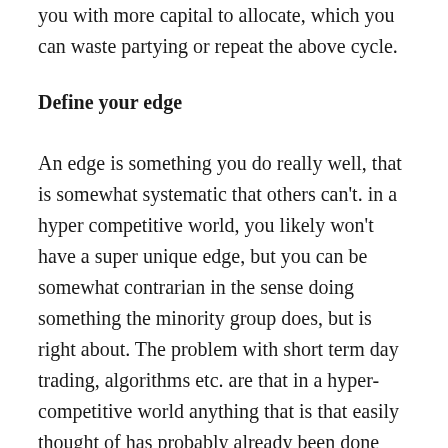you with more capital to allocate, which you can waste partying or repeat the above cycle.
Define your edge
An edge is something you do really well, that is somewhat systematic that others can't. in a hyper competitive world, you likely won't have a super unique edge, but you can be somewhat contrarian in the sense doing something the minority group does, but is right about. The problem with short term day trading, algorithms etc. are that in a hyper-competitive world anything that is that easily thought of has probably already been done and done by people with more financial and human capital. It's a losing game. Value investors edge used to be they were quantitive in a time when informative was scarce, now information is free to everyone, and everyone has powerful computers and